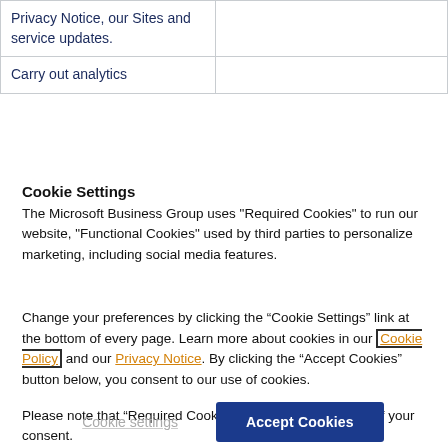| Privacy Notice, our Sites and service updates. |  |
| Carry out analytics |  |
Cookie Settings
The Microsoft Business Group uses "Required Cookies" to run our website, "Functional Cookies" used by third parties to personalize marketing, including social media features.
Change your preferences by clicking the “Cookie Settings” link at the bottom of every page. Learn more about cookies in our Cookie Policy and our Privacy Notice. By clicking the “Accept Cookies” button below, you consent to our use of cookies.
Please note that “Required Cookies” will be set regardless of your consent.